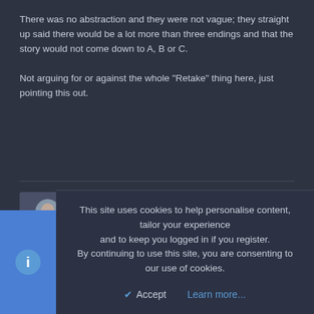There was no abstraction and they were not vague; they straight up said there would be a lot more than three endings and that the story would not come down to A, B or C.

Not arguing for or against the whole "Retake" thing here, just pointing this out.
CloudAtlas
New member
Jan 28, 2014  #288
smudboy said:
This site uses cookies to help personalise content, tailor your experience and to keep you logged in if you register.
By continuing to use this site, you are consenting to our use of cookies.
Accept   Learn more...